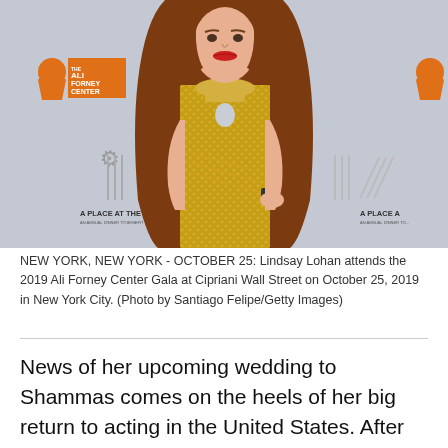[Figure (photo): Lindsay Lohan posing at the 2019 Ali Forney Center Gala at Cipriani Wall Street. She is wearing a gold sequined halter dress with a keyhole neckline. Behind her is a branded step-and-repeat backdrop showing 'The Ali Forney Center' and 'A Place at the Table' logos.]
NEW YORK, NEW YORK - OCTOBER 25: Lindsay Lohan attends the 2019 Ali Forney Center Gala at Cipriani Wall Street on October 25, 2019 in New York City. (Photo by Santiago Felipe/Getty Images)
News of her upcoming wedding to Shammas comes on the heels of her big return to acting in the United States. After taking a major step back from showbusiness over the past decade, a rep previously